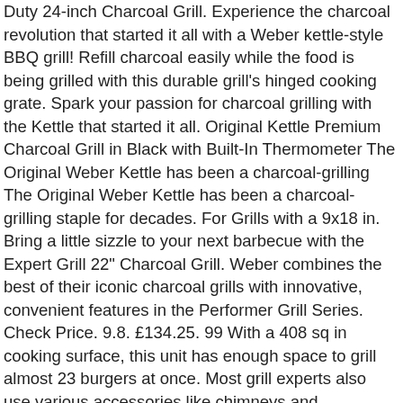Duty 24-inch Charcoal Grill. Experience the charcoal revolution that started it all with a Weber kettle-style BBQ grill! Refill charcoal easily while the food is being grilled with this durable grill's hinged cooking grate. Spark your passion for charcoal grilling with the Kettle that started it all. Original Kettle Premium Charcoal Grill in Black with Built-In Thermometer The Original Weber Kettle has been a charcoal-grilling The Original Weber Kettle has been a charcoal-grilling staple for decades. For Grills with a 9x18 in. Bring a little sizzle to your next barbecue with the Expert Grill 22" Charcoal Grill. Weber combines the best of their iconic charcoal grills with innovative, convenient features in the Performer Grill Series. Check Price. 9.8. £134.25. 99 With a 408 sq in cooking surface, this unit has enough space to grill almost 23 burgers at once. Most grill experts also use various accessories like chimneys and thermometers to make it easier to light and monitor the grill. Plenty of space for grilling up steaks or a burger for anyone who stops by. £14.47 postage. It is quite heavy about 60 lbs. Size and shape. Medium. LANDMANN 31346, Kettle Grill Black Select